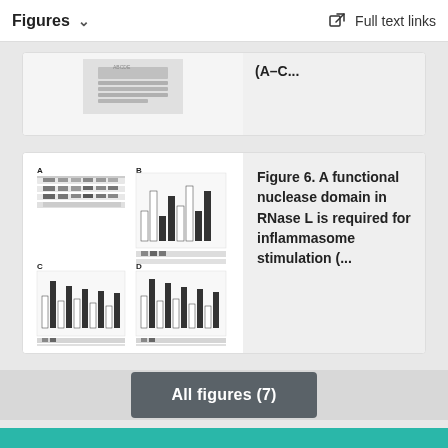Figures   Full text links
[Figure (other): Partial truncated figure card showing a microscopy/blot image thumbnail with caption text '(A–C...']
[Figure (other): Scientific figure panel with 4 subpanels (A, B, C, D) showing western blots and bar graphs related to RNase L nuclease domain and inflammasome stimulation]
Figure 6. A functional nuclease domain in RNase L is required for inflammasome stimulation (...
All figures (7)